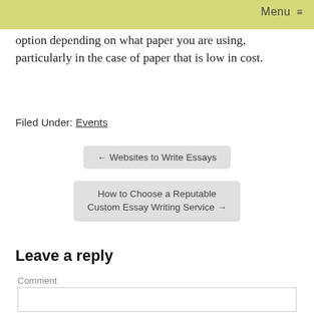Menu ≡
option depending on what paper you are using, particularly in the case of paper that is low in cost.
Filed Under: Events
← Websites to Write Essays
How to Choose a Reputable Custom Essay Writing Service →
Leave a reply
Comment